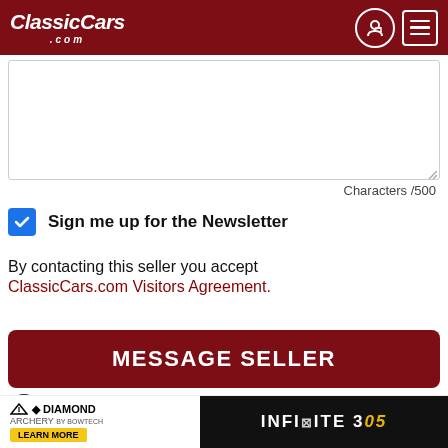[Figure (screenshot): ClassicCars.com website header with logo on left and navigation icons (login circle icon and hamburger menu icon) on right, dark red background]
[Figure (screenshot): Text area input box for message composition, empty, with resize handle]
Characters /500
Sign me up for the Newsletter
By contacting this seller you accept ClassicCars.com Visitors Agreement.
MESSAGE SELLER
Interested in something else? Search these similar vehicles...
[Figure (screenshot): Diamond Archery advertisement banner at bottom with INFINITI 305 branding]